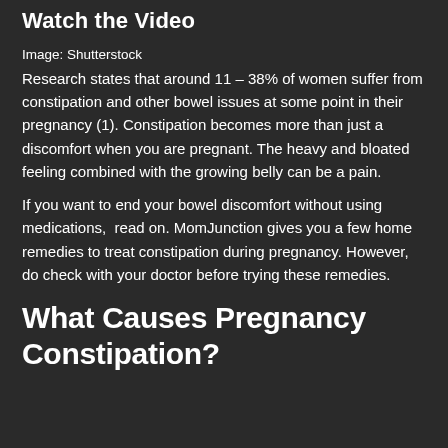Watch the Video
Image: Shutterstock
Research states that around 11 – 38% of women suffer from constipation and other bowel issues at some point in their pregnancy (1). Constipation becomes more than just a discomfort when you are pregnant. The heavy and bloated feeling combined with the growing belly can be a pain.
If you want to end your bowel discomfort without using medications,  read on. MomJunction gives you a few home remedies to treat constipation during pregnancy. However, do check with your doctor before trying these remedies.
What Causes Pregnancy Constipation?